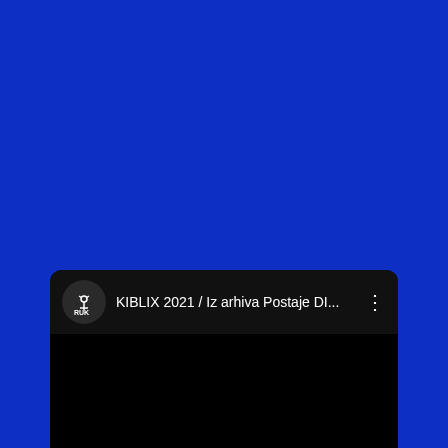[Figure (screenshot): Screenshot of a video player card on a dark blue background. The card shows a channel logo (RUK) with antenna icon in a dark circle, followed by the video title 'KIBLIX 2021 / Iz arhiva Postaje DI...' and a three-dot menu icon. Below is a black video thumbnail area.]